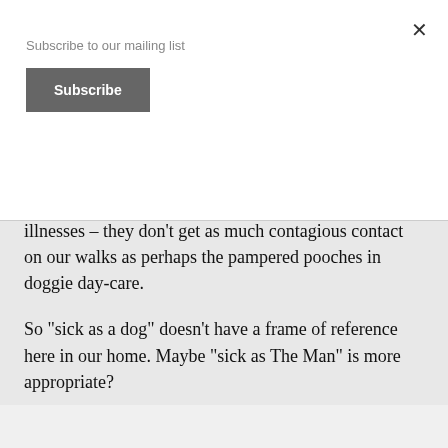Subscribe to our mailing list
Subscribe
experience them getting ill except in the last years of a dog’s life.  Absent the various tick and flea-borne illnesses – they don’t get as much contagious contact on our walks as perhaps the pampered pooches in doggie day-care.
So “sick as a dog” doesn’t have a frame of reference here in our home.  Maybe “sick as The Man” is more appropriate?